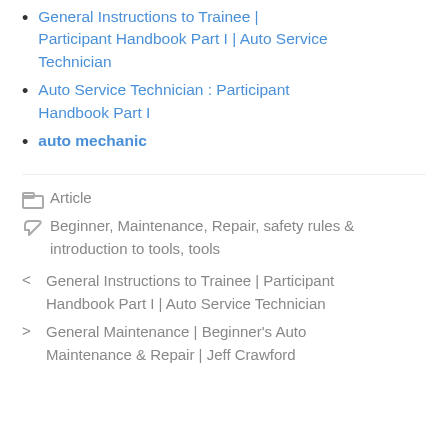General Instructions to Trainee | Participant Handbook Part I | Auto Service Technician
Auto Service Technician : Participant Handbook Part I
auto mechanic
Article
Beginner, Maintenance, Repair, safety rules & introduction to tools, tools
< General Instructions to Trainee | Participant Handbook Part I | Auto Service Technician
> General Maintenance | Beginner's Auto Maintenance & Repair | Jeff Crawford